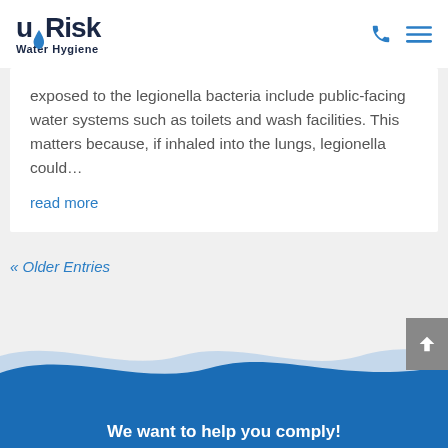uRisk Water Hygiene
exposed to the legionella bacteria include public-facing water systems such as toilets and wash facilities. This matters because, if inhaled into the lungs, legionella could…
read more
« Older Entries
We want to help you comply!